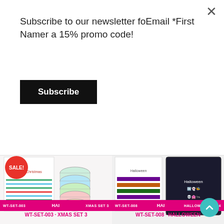Subscribe to our newsletter foEmail *First Namer a 15% promo code!
Subscribe
$6.00
$5.99
[Figure (photo): Christmas washi tape set product box with rolls (WT-SET-003 XMAS SET 3)]
[Figure (photo): Halloween washi tape set product box with rolls (WT-SET-008 HALLOWEEN SET 4)]
WT-SET-003   XMAS SET 3
WT-SET-008   HALLOWEEN SET 4